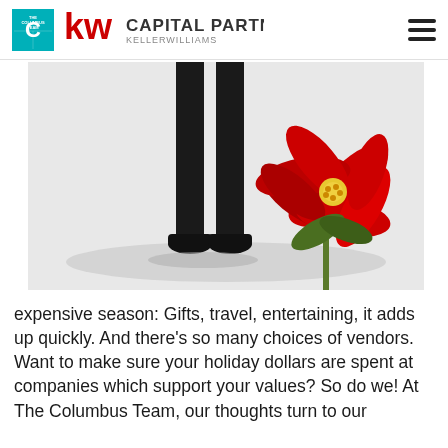THE COLUMBUS TEAM | KW CAPITAL PARTNERS KELLERWILLIAMS
[Figure (photo): Black and white photo of a person's legs/feet in dress shoes, with a vibrant red poinsettia flower in color contrast in the foreground right.]
expensive season: Gifts, travel, entertaining, it adds up quickly. And there's so many choices of vendors. Want to make sure your holiday dollars are spent at companies which support your values? So do we! At The Columbus Team, our thoughts turn to our